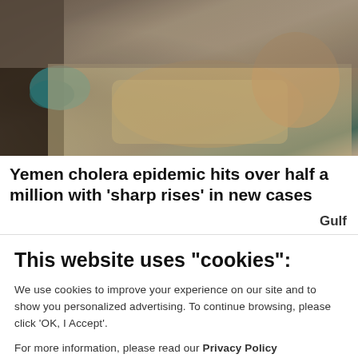[Figure (photo): A young child lying on a bed, likely a hospital patient, with medical equipment visible. Another person's arm is visible at the left. The scene appears to be in a medical or aid facility.]
Yemen cholera epidemic hits over half a million with 'sharp rises' in new cases
Gulf
This website uses "cookies":
We use cookies to improve your experience on our site and to show you personalized advertising. To continue browsing, please click 'OK, I Accept'.
For more information, please read our Privacy Policy
Ok, I Accept